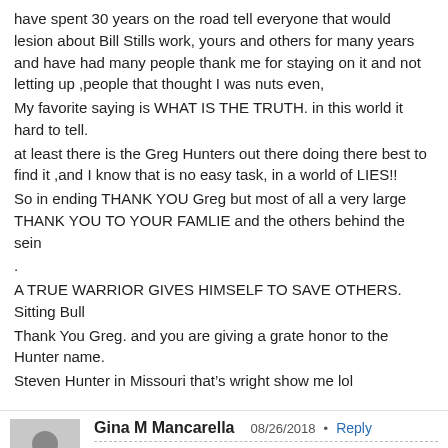have spent 30 years on the road tell everyone that would lesion about Bill Stills work, yours and others for many years and have had many people thank me for staying on it and not letting up ,people that thought I was nuts even,
My favorite saying is WHAT IS THE TRUTH. in this world it hard to tell.
at least there is the Greg Hunters out there doing there best to find it ,and I know that is no easy task, in a world of LIES!!
So in ending THANK YOU Greg but most of all a very large THANK YOU TO YOUR FAMLIE and the others behind the sein
.
A TRUE WARRIOR GIVES HIMSELF TO SAVE OTHERS.
Sitting Bull
Thank You Greg. and you are giving a grate honor to the Hunter name.
Steven Hunter in Missouri that’s wright show me lol
Gina M Mancarella  08/26/2018  Reply
I was telling the truth.